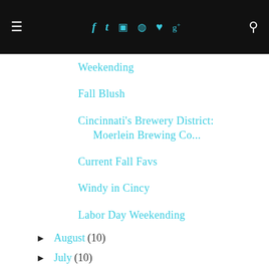≡  f  t  ⊡  ⊕  ♥  g+  🔍
Weekending
Fall Blush
Cincinnati's Brewery District: Moerlein Brewing Co...
Current Fall Favs
Windy in Cincy
Labor Day Weekending
► August (10)
► July (10)
► June (11)
► May (13)
► April (10)